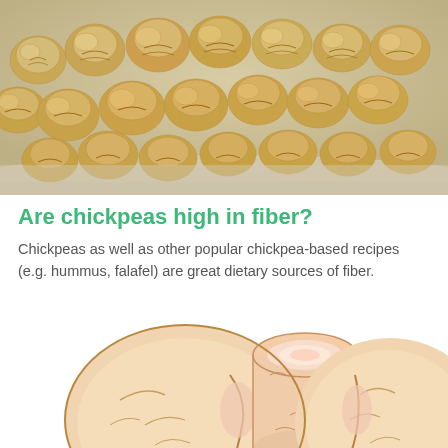[Figure (photo): Close-up photo of dried chickpeas scattered on a light surface]
Are chickpeas high in fiber?
Chickpeas as well as other popular chickpea-based recipes (e.g. hummus, falafel) are great dietary sources of fiber.
[Figure (illustration): Illustration of chickpea cross-sections showing the interior of chickpeas]